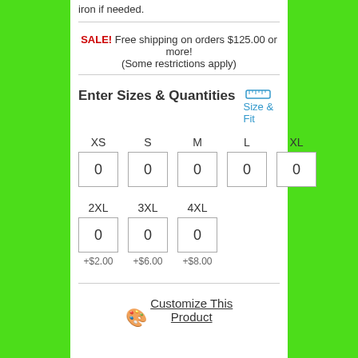iron if needed.
SALE! Free shipping on orders $125.00 or more! (Some restrictions apply)
Enter Sizes & Quantities
Size & Fit
| XS | S | M | L | XL |
| --- | --- | --- | --- | --- |
| 0 | 0 | 0 | 0 | 0 |
| 2XL | 3XL | 4XL |
| --- | --- | --- |
| 0 | 0 | 0 |
| +$2.00 | +$6.00 | +$8.00 |
🎨 Customize This Product